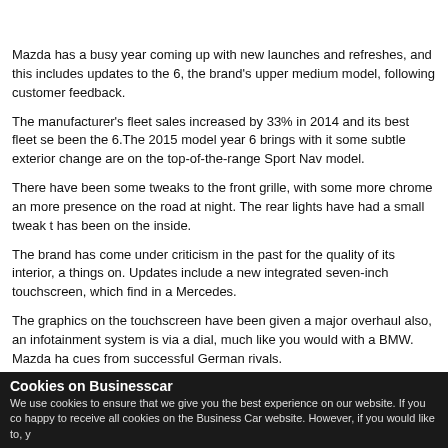[Figure (photo): Horizontal strip of car photos showing the Mazda 6, split into four segments]
Mazda has a busy year coming up with new launches and refreshes, and this includes updates to the 6, the brand's upper medium model, following customer feedback.
The manufacturer's fleet sales increased by 33% in 2014 and its best fleet seller has been the 6.The 2015 model year 6 brings with it some subtle exterior changes, which are on the top-of-the-range Sport Nav model.
There have been some tweaks to the front grille, with some more chrome and more presence on the road at night. The rear lights have had a small tweak t... has been on the inside.
The brand has come under criticism in the past for the quality of its interior, a things on. Updates include a new integrated seven-inch touchscreen, which find in a Mercedes.
The graphics on the touchscreen have been given a major overhaul also, and infotainment system is via a dial, much like you would with a BMW. Mazda ha cues from successful German rivals.
Starting in the 2015...
Cookies on Businesscar
We use cookies to ensure that we give you the best experience on our website. If you co happy to receive all cookies on the Business Car website. However, if you would like to, y